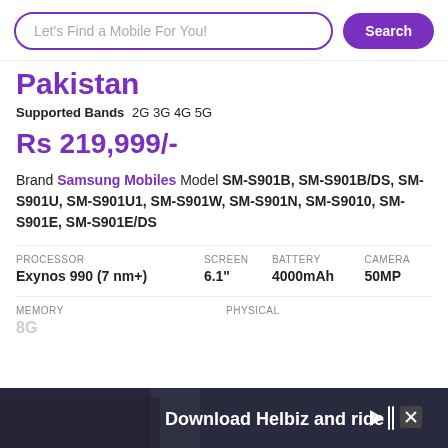Let's Find a Mobile For You!  Search
Pakistan
Supported Bands  2G 3G 4G 5G
Rs 219,999/-
Brand Samsung Mobiles Model SM-S901B, SM-S901B/DS, SM-S901U, SM-S901U1, SM-S901W, SM-S901N, SM-S9010, SM-S901E, SM-S901E/DS
| PROCESSOR | SCREEN | BATTERY | CAMERA |
| --- | --- | --- | --- |
| Exynos 990 (7 nm+) | 6.1" | 4000mAh | 50MP |
| MEMORY | PHYSICAL |
| --- | --- |
| 8G... |  |
[Figure (photo): Download Helbiz and ride advertisement banner at the bottom of the page]